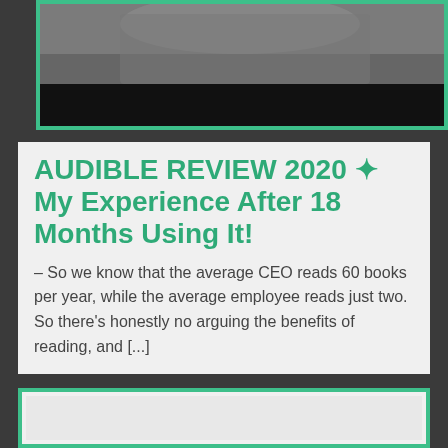[Figure (photo): Partial photo of a person visible at the top of the page, dark background, shown in a teal-bordered frame]
AUDIBLE REVIEW 2020 ✦ My Experience After 18 Months Using It!
– So we know that the average CEO reads 60 books per year, while the average employee reads just two. So there's honestly no arguing the benefits of reading, and [...]
[Figure (screenshot): Bottom teal-bordered frame, partially visible, content cut off at bottom of page]